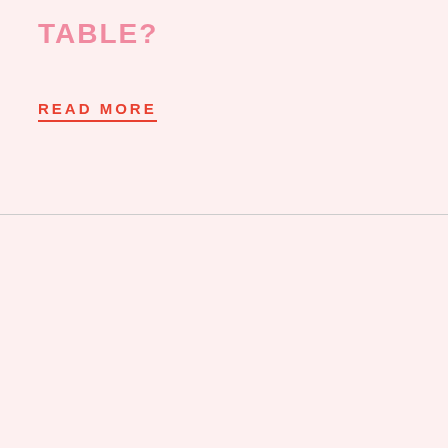TABLE?
READ MORE
[Figure (logo): Mahjong brand logo shown as a semicircular arc with the text MAHJONG around the top edge in blue on an orange/red circle border]
Be the first to hear about new lines being released.
Email
SUBSCRIBE